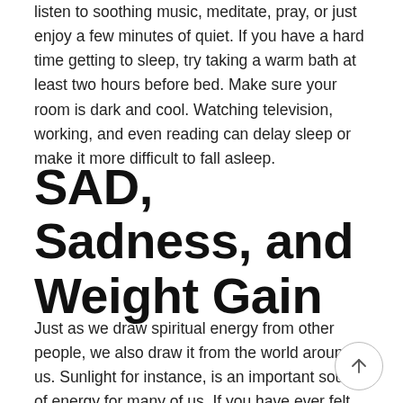listen to soothing music, meditate, pray, or just enjoy a few minutes of quiet. If you have a hard time getting to sleep, try taking a warm bath at least two hours before bed. Make sure your room is dark and cool. Watching television, working, and even reading can delay sleep or make it more difficult to fall asleep.
SAD, Sadness, and Weight Gain
Just as we draw spiritual energy from other people, we also draw it from the world around us. Sunlight for instance, is an important source of energy for many of us. If you have ever felt the winter blues,